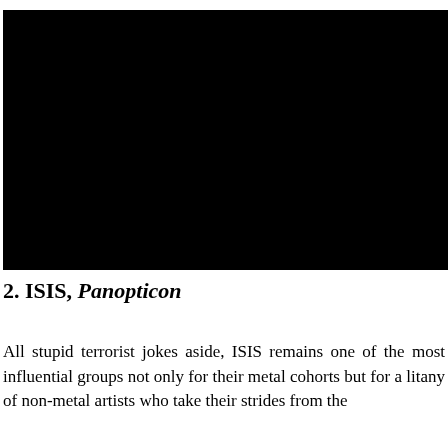[Figure (photo): A large black image/photograph taking up the upper portion of the page]
2. ISIS, Panopticon
All stupid terrorist jokes aside, ISIS remains one of the most influential groups not only for their metal cohorts but for a litany of non-metal artists who take their strides from the